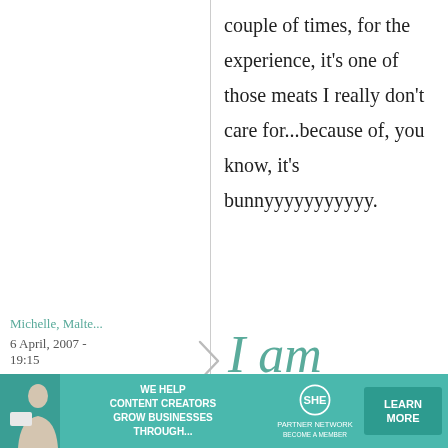couple of times, for the experience, it's one of those meats I really don't care for...because of, you know, it's bunnyyyyyyyyyyy.
Michelle, Malte...
6 April, 2007 - 19:15
permalink
I am
plastered by
[Figure (infographic): SHE Partner Network advertisement banner with text 'WE HELP CONTENT CREATORS GROW BUSINESSES THROUGH...' and a LEARN MORE button]